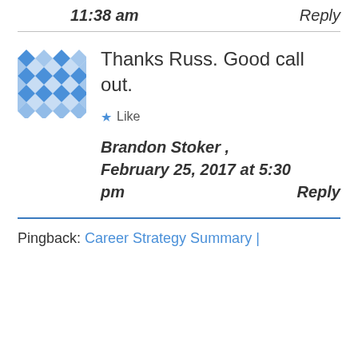11:38 am    Reply
Thanks Russ. Good call out.
★ Like
Brandon Stoker , February 25, 2017 at 5:30 pm    Reply
Pingback: Career Strategy Summary |